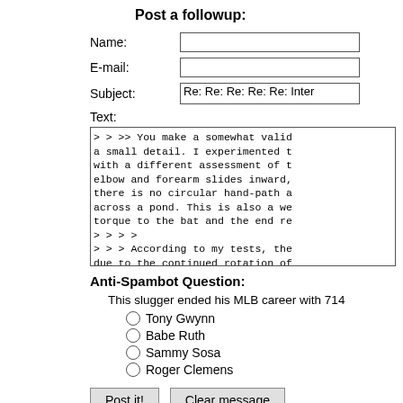Post a followup:
Name:
E-mail:
Subject: Re: Re: Re: Re: Re: Inter
Text:
> > >> You make a somewhat valid
a small detail. I experimented t
with a different assessment of t
elbow and forearm slides inward,
there is no circular hand-path a
across a pond. This is also a we
torque to the bat and the end re
> > > >
> > > According to my tests, the
due to the continued rotation of
Anti-Spambot Question:
This slugger ended his MLB career with 714
Tony Gwynn
Babe Ruth
Sammy Sosa
Roger Clemens